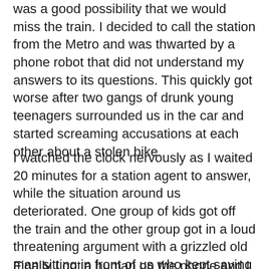was a good possibility that we would miss the train. I decided to call the station from the Metro and was thwarted by a phone robot that did not understand my answers to its questions. This quickly got worse after two gangs of drunk young teenagers surrounded us in the car and started screaming accusations at each other about a stolen bike.
I watched the clock nervously as I waited 20 minutes for a station agent to answer, while the situation around us deteriorated. One group of kids got off the train and the other group got in a loud threatening argument with a grizzled old man sitting in front of us who kept saying things to escalate the tension and doing things like wiggling his fingers at the sides of his head yelling “BLEH!!!!”
Finally I got a human on the phone and I was nearly